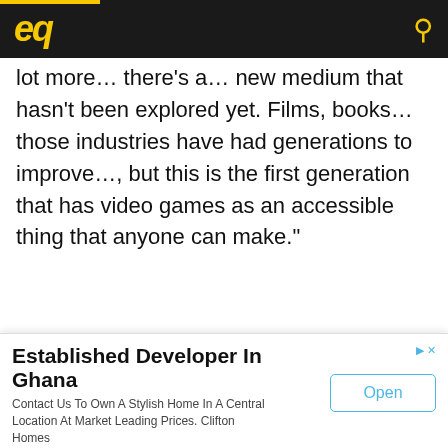eq [logo] [search icon]
lot more… there's a… new medium that hasn't been explored yet. Films, books… those industries have had generations to improve…, but this is the first generation that has video games as an accessible thing that anyone can make."
St. Louis Game Developers are
Established Developer In Ghana
Contact Us To Own A Stylish Home In A Central Location At Market Leading Prices. Clifton Homes
Open